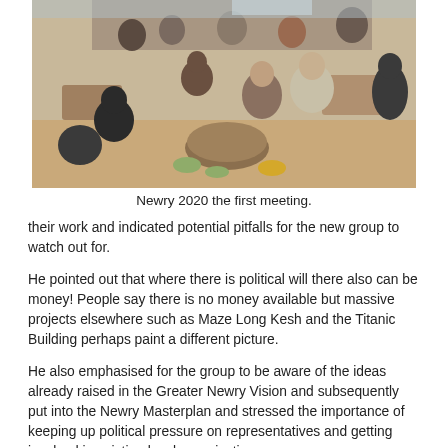[Figure (photo): People seated around tables at an indoor meeting or gathering, viewed from above and behind. Multiple groups visible talking and interacting.]
Newry 2020 the first meeting.
their work and indicated potential pitfalls for the new group to watch out for.
He pointed out that where there is political will there also can be money! People say there is no money available but massive projects elsewhere such as Maze Long Kesh and the Titanic Building perhaps paint a different picture.
He also emphasised for the group to be aware of the ideas already raised in the Greater Newry Vision and subsequently put into the Newry Masterplan and stressed the importance of keeping up political pressure on representatives and getting involved in existing local organisations.
Also speaking at the night Columba O'Hare commented on what was already being put in place in Newry and of the desire